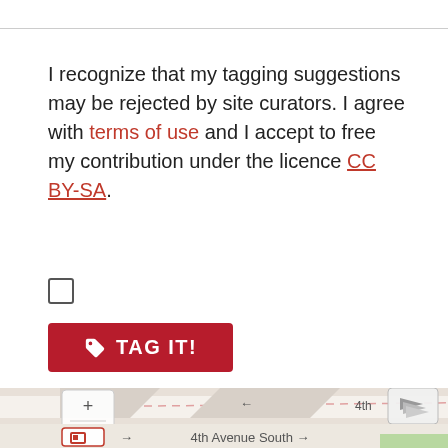I recognize that my tagging suggestions may be rejected by site curators. I agree with terms of use and I accept to free my contribution under the licence CC BY-SA.
[Figure (other): Checkbox (unchecked)]
[Figure (other): Red TAG IT! button with tag icon]
[Figure (map): Street map showing 4th Avenue South with zoom controls and layer switcher]